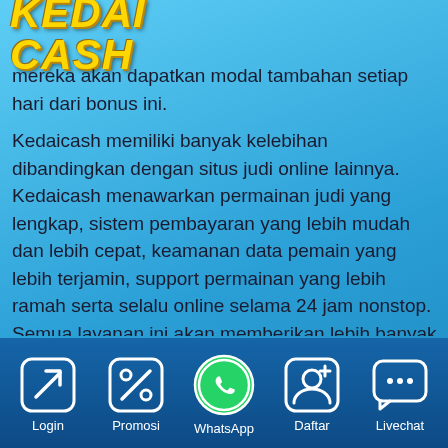[Figure (logo): Kedai Cash logo with gold italic bold text on blue background]
mereka akan dapatkan modal tambahan setiap hari dari bonus ini.
Kedaicash memiliki banyak kelebihan dibandingkan dengan situs judi online lainnya. Kedaicash menawarkan permainan judi yang lengkap, sistem pembayaran yang lebih mudah dan lebih cepat, keamanan data pemain yang lebih terjamin, support permainan yang lebih ramah serta selalu online selama 24 jam nonstop. Semua layanan ini akan memberikan lebih banyak keuntungan bagi para pemainnya. Kedaicash merupakan bandar slot online terbaik yang ada di Indonesia kini. Masih ada banyak keuntungan
Login | Promosi | WhatsApp | Daftar | Livechat